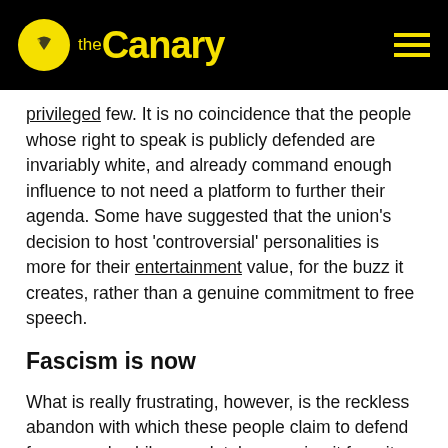the Canary
privileged few. It is no coincidence that the people whose right to speak is publicly defended are invariably white, and already command enough influence to not need a platform to further their agenda. Some have suggested that the union's decision to host 'controversial' personalities is more for their entertainment value, for the buzz it creates, rather than a genuine commitment to free speech.
Fascism is now
What is really frustrating, however, is the reckless abandon with which these people claim to defend free speech while completely removing it from its real-world implications. Aleksandar Hemon, in an article written in response to the news that Bannon might headline the 2018 New Yorker literary festival, says: